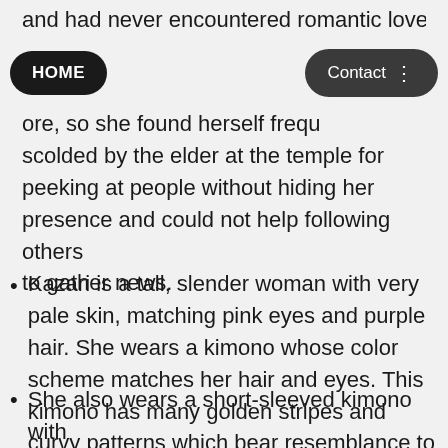and had never encountered romantic love
HOME | Contact
ore, so she found herself frequently scolded by the elder at the temple for peeking at people without hiding her presence and could not help following others to gather news.
Kazari is a tall, slender woman with very pale skin, matching pink eyes and purple hair. She wears a kimono whose color scheme matches her hair and eyes. This kimono has many golden stripes and curvy patterns which bear resemblance to Japanese flower motifs, giving her the name of "The girl decorated in flowers".
She also wears a short-sleeved kimono with yellow and red strings and has long white...